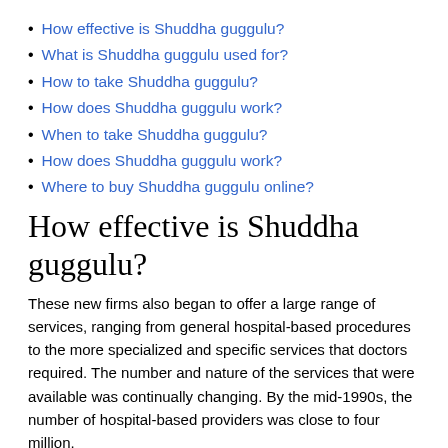How effective is Shuddha guggulu?
What is Shuddha guggulu used for?
How to take Shuddha guggulu?
How does Shuddha guggulu work?
When to take Shuddha guggulu?
How does Shuddha guggulu work?
Where to buy Shuddha guggulu online?
How effective is Shuddha guggulu?
These new firms also began to offer a large range of services, ranging from general hospital-based procedures to the more specialized and specific services that doctors required. The number and nature of the services that were available was continually changing. By the mid-1990s, the number of hospital-based providers was close to four million.
Shuddha guggulu vs abana began to come down.